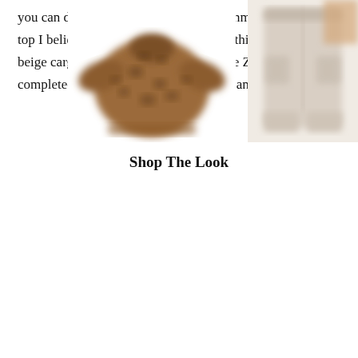you can definitely re-wear them this summer. This leopard top I believe I bought it last fall, I wore this top with a beige cargo pants and added a pop of the Zebra print. I completed this look black textured boot and fanny bag.
Shop The Look
[Figure (photo): Blurred photo of a brown leopard print cropped top]
[Figure (photo): Blurred photo of beige cargo pants on white background]